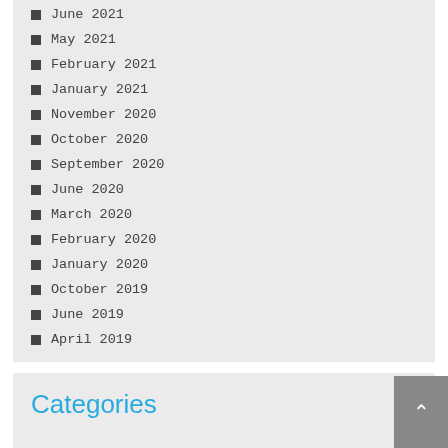June 2021
May 2021
February 2021
January 2021
November 2020
October 2020
September 2020
June 2020
March 2020
February 2020
January 2020
October 2019
June 2019
April 2019
Categories